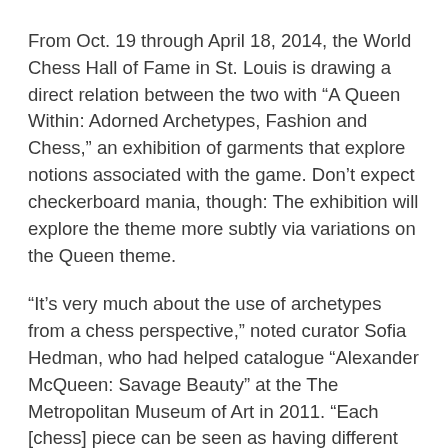From Oct. 19 through April 18, 2014, the World Chess Hall of Fame in St. Louis is drawing a direct relation between the two with “A Queen Within: Adorned Archetypes, Fashion and Chess,” an exhibition of garments that explore notions associated with the game. Don’t expect checkerboard mania, though: The exhibition will explore the theme more subtly via variations on the Queen theme.
“It’s very much about the use of archetypes from a chess perspective,” noted curator Sofia Hedman, who had helped catalogue “Alexander McQueen: Savage Beauty” at the The Metropolitan Museum of Art in 2011. “Each [chess] piece can be seen as having different personalities, and the exhibition investigates these archetypes of the queen.”
The nine different themes in the exhibition — based